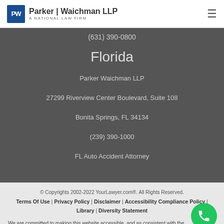Parker | Waichman LLP — A National Law Firm
(631) 390-0800
Florida
Parker Waichman LLP
27299 Riverview Center Boulevard, Suite 108
Bonita Springs, FL 34134
(239) 390-1000
FL Auto Accident Attorney
© Copyrights 2002-2022 YourLawyer.com®. All Rights Reserved.
Terms Of Use | Privacy Policy | Disclaimer | Accessibility Compliance Policy | Library | Diversity Statement
We are committed to making this website accessible, and as consistent with the